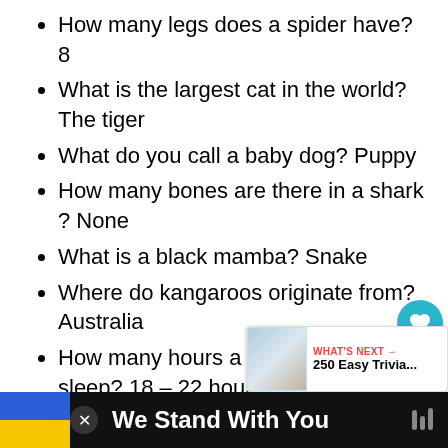How many legs does a spider have? 8
What is the largest cat in the world? The tiger
What do you call a baby dog? Puppy
How many bones are there in a shark ? None
What is a black mamba? Snake
Where do kangaroos originate from? Australia
How many hours a day do Koalas sleep? 18 – 22 hours
What is a baby sheep called? La...
What do you call a baby kangaroo? Joey
What is the largest mammal in the